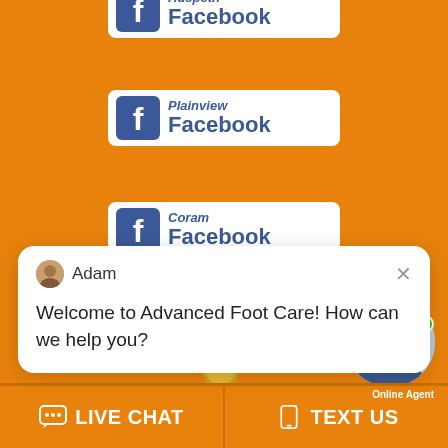[Figure (logo): Huspeth Facebook badge - white rounded rectangle with Facebook 'f' icon and text 'Huspeth Facebook' in blue]
[Figure (logo): Plainview Facebook badge - white rounded rectangle with Facebook 'f' icon and text 'Plainview Facebook' in blue]
[Figure (logo): Coram Facebook badge - white rounded rectangle with Facebook 'f' icon and text 'Coram Facebook' in blue (partially clipped)]
[Figure (screenshot): Chat popup with agent Adam avatar, close X button, and message: Welcome to Advanced Foot Care! How can we help you?]
Adam
Welcome to Advanced Foot Care! How can we help you?
[Figure (logo): Websites award badge partially visible behind chat popup]
[Figure (photo): Round avatar photo of smiling Asian man (Online Agent) with green online dot and notification badge showing 1]
Online Agent
LIVE CHAT
TEXT US